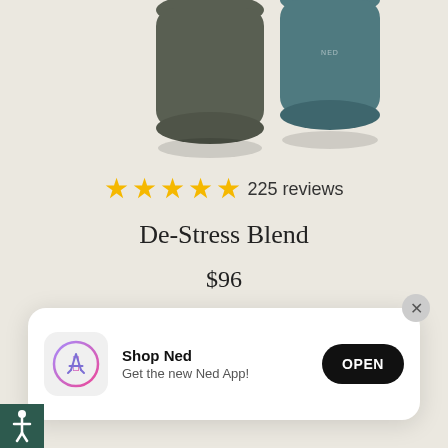[Figure (photo): Two dark olive/grey product bottles partially visible at the top of the page on a beige/cream background]
★★★★★ 225 reviews
De-Stress Blend
$96
[Figure (screenshot): App store banner with App Store icon, 'Shop Ned' title, 'Get the new Ned App!' subtitle, and an OPEN button. Close (X) button in top-right corner.]